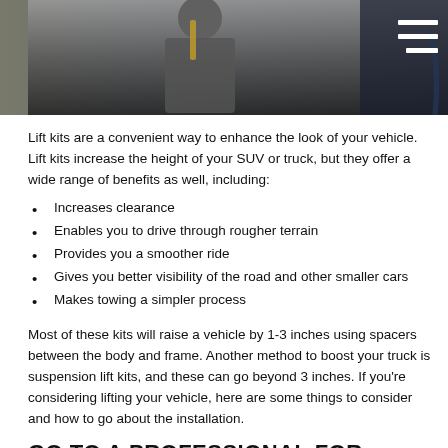[Figure (photo): A mechanic or auto worker in a garage setting, wearing a gray jacket, with a vehicle visible in the background. A hamburger/menu icon is visible in the top right corner.]
Lift kits are a convenient way to enhance the look of your vehicle. Lift kits increase the height of your SUV or truck, but they offer a wide range of benefits as well, including:
Increases clearance
Enables you to drive through rougher terrain
Provides you a smoother ride
Gives you better visibility of the road and other smaller cars
Makes towing a simpler process
Most of these kits will raise a vehicle by 1-3 inches using spacers between the body and frame. Another method to boost your truck is suspension lift kits, and these can go beyond 3 inches. If you're considering lifting your vehicle, here are some things to consider and how to go about the installation.
GO TO A PROFESSIONAL FOR